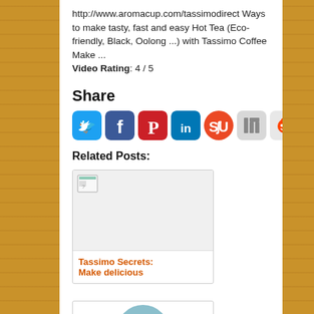http://www.aromacup.com/tassimodirect Ways to make tasty, fast and easy Hot Tea (Eco-friendly, Black, Oolong ...) with Tassimo Coffee Make ...
Video Rating: 4 / 5
Share
[Figure (infographic): Social sharing icons: Twitter (blue bird), Facebook (blue f), Pinterest (red P), LinkedIn (blue in), StumbleUpon (orange), Digg (gray), Reddit (alien), Delicious (blue dots)]
Related Posts:
[Figure (illustration): Broken image placeholder with document icon]
Tassimo Secrets: Make delicious
[Figure (photo): Partial blue avatar circle at bottom of page]